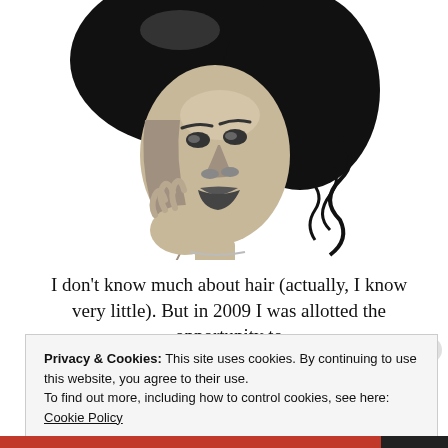[Figure (illustration): Black and white pencil/digital illustration of a woman with a large natural afro hairstyle, chin resting on hand, looking upward. Detailed shading in grayscale.]
I don't know much about hair (actually, I know very little). But in 2009 I was allotted the opportunity to
Privacy & Cookies: This site uses cookies. By continuing to use this website, you agree to their use.
To find out more, including how to control cookies, see here: Cookie Policy
Close and accept